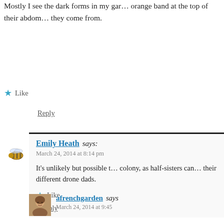Mostly I see the dark forms in my garden with an orange band at the top of their abdomen, I wonder where they come from.
Like
Reply
Emily Heath says: March 24, 2014 at 8:14 pm
It's unlikely but possible that they are from one colony, as half-sisters can look different due to their different drone dads.
Like
Reply
afrenchgarden says: March 24, 2014 at 9:45